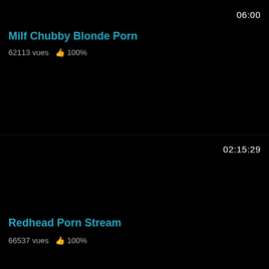06:00
Milf Chubby Blonde Porn
62113 vues  👍 100%
02:15:29
Redhead Porn Stream
66537 vues  👍 100%